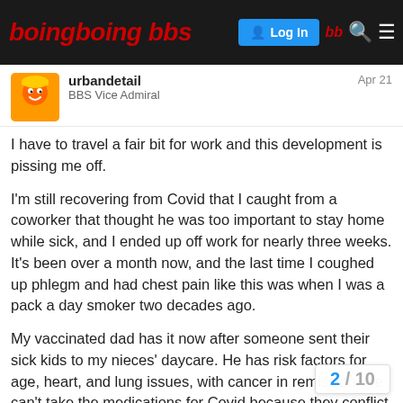Boing Boing BBS – Log In
urbandetail
BBS Vice Admiral
Apr 21
I have to travel a fair bit for work and this development is pissing me off.
I'm still recovering from Covid that I caught from a coworker that thought he was too important to stay home while sick, and I ended up off work for nearly three weeks. It's been over a month now, and the last time I coughed up phlegm and had chest pain like this was when I was a pack a day smoker two decades ago.
My vaccinated dad has it now after someone sent their sick kids to my nieces' daycare. He has risk factors for age, heart, and lung issues, with cancer in remission. He can't take the medications for Covid because they conflict with his existing meds, so he has to power through. Someone is supposed to call him to go and get antibodies on a drip, but He's pretty miserable right now but holding
2 / 10